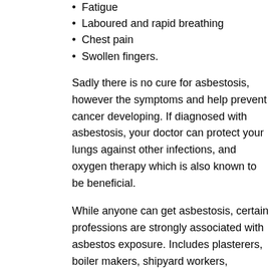Fatigue
Laboured and rapid breathing
Chest pain
Swollen fingers.
Sadly there is no cure for asbestosis, however the symptoms and help prevent cancer developing. If diagnosed with asbestosis, your doctor can protect your lungs against other infections, and oxygen therapy which is also known to be beneficial.
While anyone can get asbestosis, certain professions are strongly associated with asbestos exposure. Includes plasterers, boiler makers, shipyard workers, plumbers, pipefitters, heating and refrigeration and chemical technicians are all considered at risk.
If you think you may be exposed to asbestos it is vital you raise the issue with your employer. To protect your health and safety.